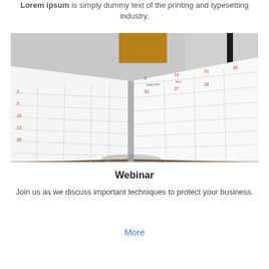Lorem ipsum is simply dummy text of the printing and typesetting industry.
[Figure (photo): Open planner/calendar book lying on a wooden desk, photographed at an angle showing calendar grid pages with dates and handwritten entries, with a person partially visible in the background.]
Webinar
Join us as we discuss important techniques to protect your business.
More